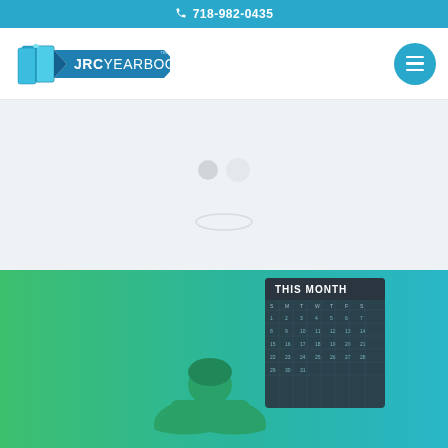718-982-0435
[Figure (logo): JRC Yearbooks logo with open book icon and blue ribbon banner]
[Figure (screenshot): Website hero area in loading state with grey background and loading spinner dots]
[Figure (photo): Green-to-teal tinted photo of a student with head down on desk and a wall calendar reading THIS MONTH in the background]